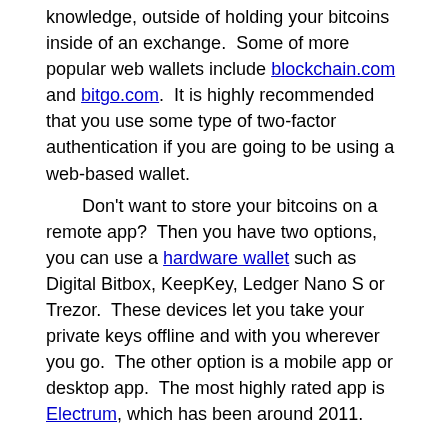knowledge, outside of holding your bitcoins inside of an exchange. Some of more popular web wallets include blockchain.com and bitgo.com. It is highly recommended that you use some type of two-factor authentication if you are going to be using a web-based wallet.
    Don't want to store your bitcoins on a remote app? Then you have two options, you can use a hardware wallet such as Digital Bitbox, KeepKey, Ledger Nano S or Trezor. These devices let you take your private keys offline and with you wherever you go. The other option is a mobile app or desktop app. The most highly rated app is Electrum, which has been around 2011.
What you need know before sending Bitcoins
When it comes to bitcoins, make sure you know what you are doing. For the most part, there are no small